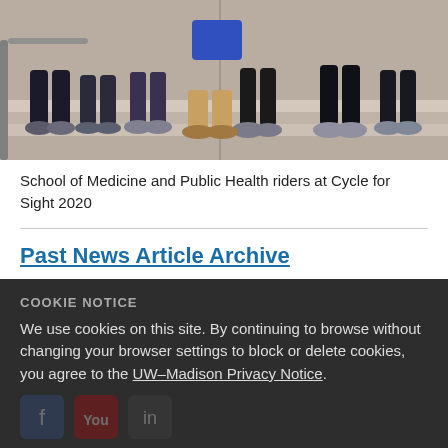[Figure (photo): Group of people sitting on outdoor steps, showing their feet and legs, wearing athletic clothing and shoes. Photo taken at Cycle for Sight 2020 event.]
School of Medicine and Public Health riders at Cycle for Sight 2020
Past News Article Archive
COOKIE NOTICE
We use cookies on this site. By continuing to browse without changing your browser settings to block or delete cookies, you agree to the UW–Madison Privacy Notice.
GOT IT!